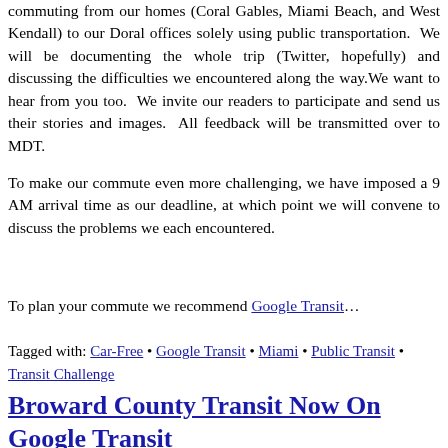commuting from our homes (Coral Gables, Miami Beach, and West Kendall) to our Doral offices solely using public transportation. We will be documenting the whole trip (Twitter, hopefully) and discussing the difficulties we encountered along the way. We want to hear from you too. We invite our readers to participate and send us their stories and images. All feedback will be transmitted over to MDT.
To make our commute even more challenging, we have imposed a 9 AM arrival time as our deadline, at which point we will convene to discuss the problems we each encountered.
To plan your commute we recommend Google Transit…
Tagged with: Car-Free • Google Transit • Miami • Public Transit • Transit Challenge
Broward County Transit Now On Google Transit
By JM Balsa • June 3rd, 2000 • 1...